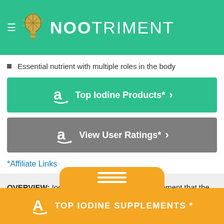NOOTRIMENT
Essential nutrient with multiple roles in the body
[Figure (screenshot): Green button with Amazon logo: Top Iodine Products* with chevron]
[Figure (screenshot): Gray button with Amazon logo: View User Ratings* with chevron]
*Affiliate Links
OVERVIEW: Iodine is an essential chemical element that the body cannot produce, so it must come from the diet. The thyroid gland needs iodine to make hormones involved in metabolism.
USED FOR: Iodine... ions. Weight loss
TOP IODINE SUPPLEMENTS *